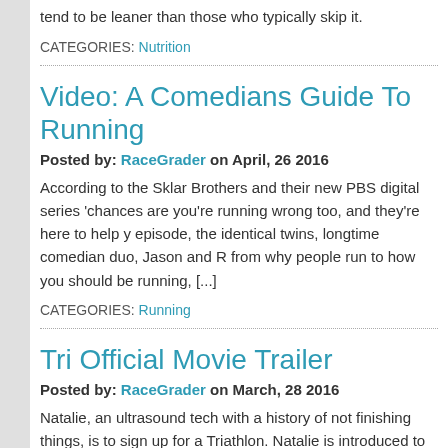tend to be leaner than those who typically skip it.
CATEGORIES: Nutrition
Video: A Comedians Guide To Running
Posted by: RaceGrader on April, 26 2016
According to the Sklar Brothers and their new PBS digital series chances are you're running wrong too, and they're here to help y episode, the identical twins, longtime comedian duo, Jason and R from why people run to how you should be running, [...]
CATEGORIES: Running
Tri Official Movie Trailer
Posted by: RaceGrader on March, 28 2016
Natalie, an ultrasound tech with a history of not finishing things, is to sign up for a Triathlon. Natalie is introduced to the strange (and triathletes and meets a colorful cast of characters as she trains fo